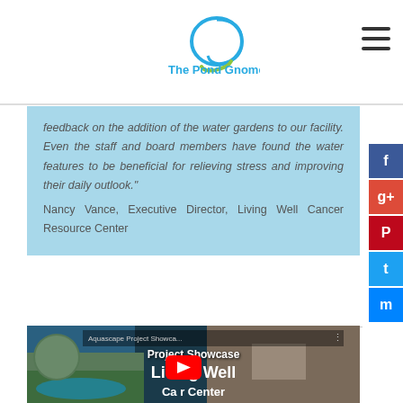The Pond Gnome
feedback on the addition of the water gardens to our facility. Even the staff and board members have found the water features to be beneficial for relieving stress and improving their daily outlook." Nancy Vance, Executive Director, Living Well Cancer Resource Center
[Figure (screenshot): YouTube video thumbnail for Aquascape Project Showcase - Living Well Cancer Resource Center, showing a pond/water feature with text overlay and a red play button.]